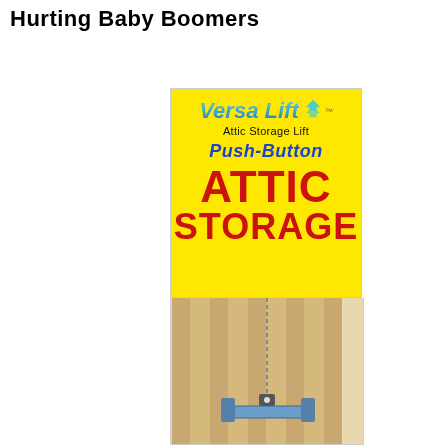Hurting Baby Boomers
[Figure (advertisement): Versa Lift Attic Storage Lift advertisement on yellow background with blue italic 'Push-Button' text, large red 'ATTIC STORAGE' text, and an illustration of an attic lift mechanism below.]